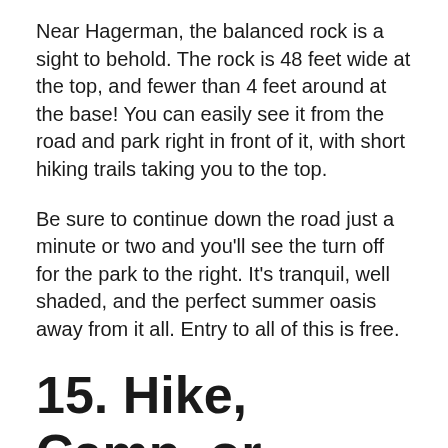Near Hagerman, the balanced rock is a sight to behold. The rock is 48 feet wide at the top, and fewer than 4 feet around at the base! You can easily see it from the road and park right in front of it, with short hiking trails taking you to the top.
Be sure to continue down the road just a minute or two and you'll see the turn off for the park to the right. It's tranquil, well shaded, and the perfect summer oasis away from it all. Entry to all of this is free.
15. Hike, Camp, or Climb in the City of Rocks National